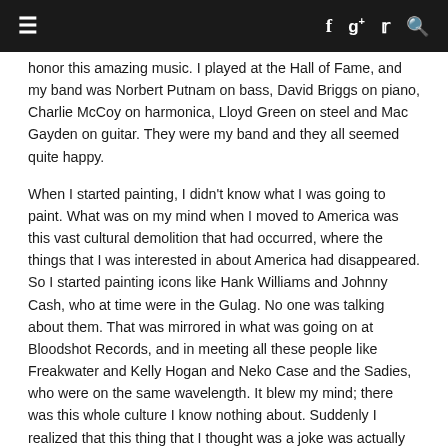≡  f  g+  🐦  🔍
honor this amazing music. I played at the Hall of Fame, and my band was Norbert Putnam on bass, David Briggs on piano, Charlie McCoy on harmonica, Lloyd Green on steel and Mac Gayden on guitar. They were my band and they all seemed quite happy.
When I started painting, I didn't know what I was going to paint. What was on my mind when I moved to America was this vast cultural demolition that had occurred, where the things that I was interested in about America had disappeared. So I started painting icons like Hank Williams and Johnny Cash, who at time were in the Gulag. No one was talking about them. That was mirrored in what was going on at Bloodshot Records, and in meeting all these people like Freakwater and Kelly Hogan and Neko Case and the Sadies, who were on the same wavelength. It blew my mind; there was this whole culture I know nothing about. Suddenly I realized that this thing that I thought was a joke was actually profound and deep.
To be honest, it's just nice to feel slightly noticed. I'm not a stupid